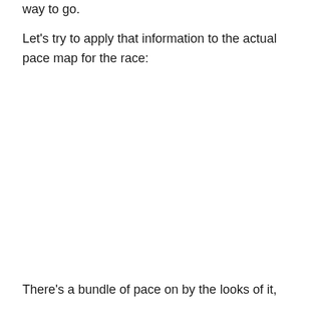way to go.
Let's try to apply that information to the actual pace map for the race:
There's a bundle of pace on by the looks of it,